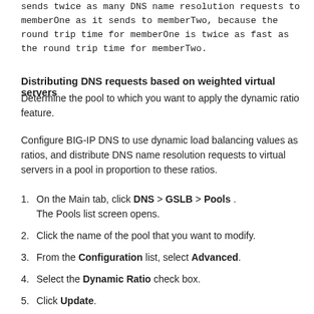sends twice as many DNS name resolution requests to memberOne as it sends to memberTwo, because the round trip time for memberOne is twice as fast as the round trip time for memberTwo.
Distributing DNS requests based on weighted virtual servers
Determine the pool to which you want to apply the dynamic ratio feature.
Configure BIG-IP DNS to use dynamic load balancing values as ratios, and distribute DNS name resolution requests to virtual servers in a pool in proportion to these ratios.
On the Main tab, click DNS > GSLB > Pools . The Pools list screen opens.
Click the name of the pool that you want to modify.
From the Configuration list, select Advanced.
Select the Dynamic Ratio check box.
Click Update.